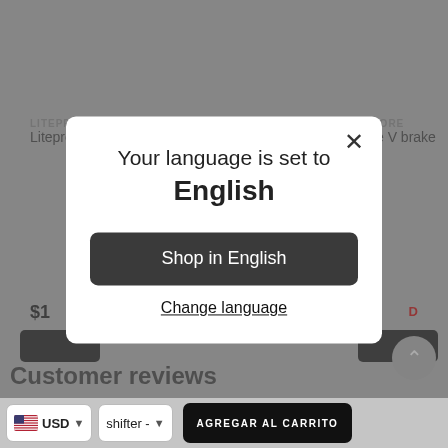[Figure (screenshot): Background of an e-commerce website showing product listings for Liteprobicycle Store folding bike parts, partially obscured by a modal dialog. Bottom bar shows currency selector and add to cart button in Spanish.]
Your language is set to English
Shop in English
Change language
AGREGAR AL CARRITO
USD
shifter -